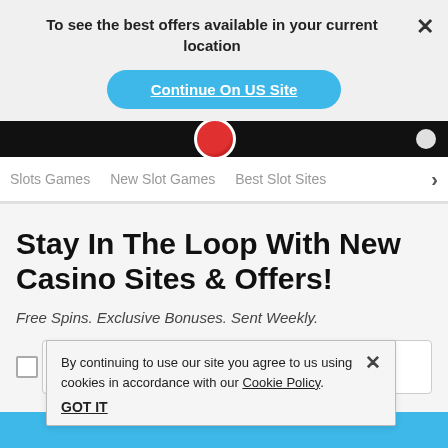To see the best offers available in your current location
Continue On US Site
Slots Games   New Slot Games   Best Slot Sites  >
Stay In The Loop With New Casino Sites & Offers!
Free Spins. Exclusive Bonuses. Sent Weekly.
By continuing to use our site you agree to us using cookies in accordance with our Cookie Policy. GOT IT
e to receiving